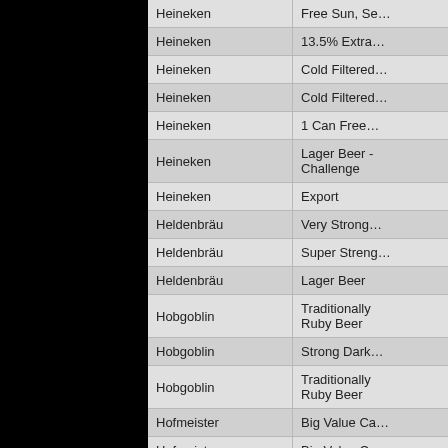| Brand | Product |
| --- | --- |
| Heineken | Free Sun, Se… |
| Heineken | 13.5% Extra… |
| Heineken | Cold Filtered… |
| Heineken | Cold Filtered… |
| Heineken | 1 Can Free… |
| Heineken | Lager Beer - Challenge |
| Heineken | Export |
| Heldenbräu | Very Strong… |
| Heldenbräu | Super Streng… |
| Heldenbräu | Lager Beer |
| Hobgoblin | Traditionally Ruby Beer |
| Hobgoblin | Strong Dark… |
| Hobgoblin | Traditionally Ruby Beer |
| Hofmeister | Big Value Ca… |
| Hofmeister | Big Value Ca… |
| Hofmeister | Follow The B… |
| Holsten | Pils |